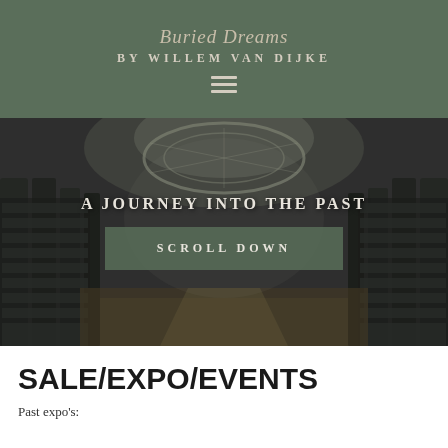Buried Dreams BY WILLEM VAN DIJKE
[Figure (photo): Interior of an abandoned grand building with circular glass dome ceiling, ornate columns, and rows of cubby shelves/niches lining the walls, photographed in dark moody HDR style]
A JOURNEY INTO THE PAST
SCROLL DOWN
SALE/EXPO/EVENTS
Past expo's: